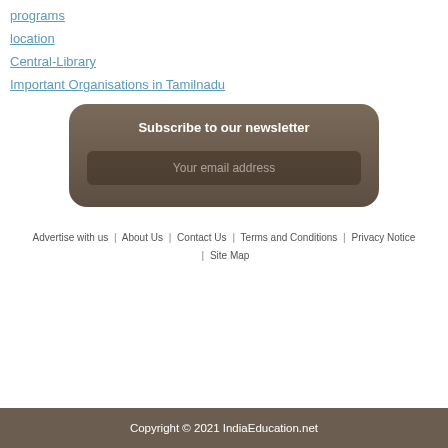programs
location
Central-Library
Important Organisations in Tamilnadu
Subscribe to our newsletter
Your email address
Advertise with us | About Us | Contact Us | Terms and Conditions | Privacy Notice | Site Map
Copyright © 2021 IndiaEducation.net